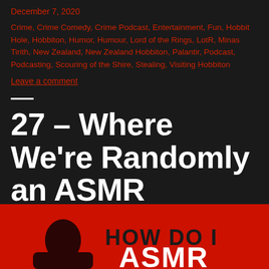December 7, 2020
Crime, Crime Comedy, Crime Podcast, Entertainment, Fun, Hobbit Hole, Hobbiton, Humor, Humour, Lord of the Rings, LotR, Minas Tirith, New Zealand, New Zealand Hobbiton, Palantir, Podcast, Podcasting, Scouring of the Shire, Stealing, Visiting Hobbiton
Leave a comment
27 – Where We're Randomly an ASMR Podcast
Podcast
[Figure (illustration): Red background image with bold text reading 'HOW DO I ASMR' and a dark silhouette figure at the bottom]